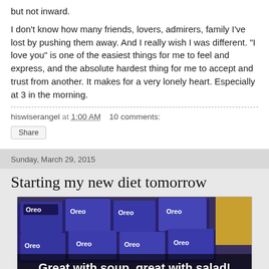but not inward.
I don't know how many friends, lovers, admirers, family I've lost by pushing them away. And I really wish I was different. "I love you" is one of the easiest things for me to feel and express, and the absolute hardest thing for me to accept and trust from another. It makes for a very lonely heart. Especially at 3 in the morning.
hiswiserangel at 1:00 AM   10 comments:
Share
Sunday, March 29, 2015
Starting my new diet tomorrow
[Figure (photo): Photo of multiple Oreo cookie packages stacked together with a text overlay reading 'Great with soup, great with salad!']